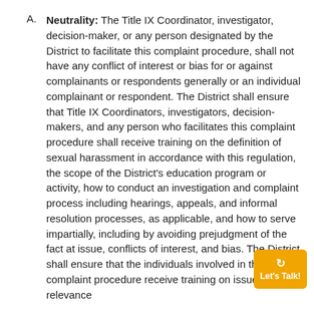A. Neutrality: The Title IX Coordinator, investigator, decision-maker, or any person designated by the District to facilitate this complaint procedure, shall not have any conflict of interest or bias for or against complainants or respondents generally or an individual complainant or respondent. The District shall ensure that Title IX Coordinators, investigators, decision-makers, and any person who facilitates this complaint procedure shall receive training on the definition of sexual harassment in accordance with this regulation, the scope of the District's education program or activity, how to conduct an investigation and complaint process including hearings, appeals, and informal resolution processes, as applicable, and how to serve impartially, including by avoiding prejudgment of the fact at issue, conflicts of interest, and bias. The District shall ensure that the individuals involved in the complaint procedure receive training on issues of relevance